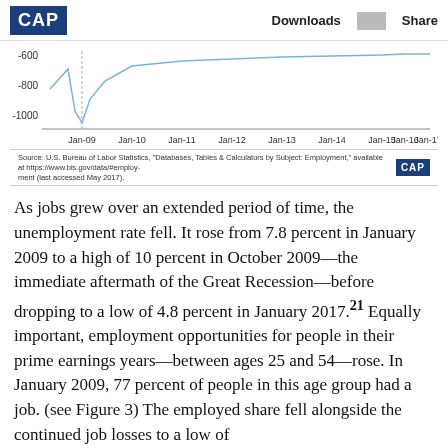CAP    Downloads  Share
[Figure (continuous-plot): Bottom portion of a line chart showing monthly job changes from Jan-09 to Jan-17, with y-axis values visible at -600, -800, -1000. A line dips sharply near Jan-09 and then rises.]
Source: U.S. Bureau of Labor Statistics, 'Databases, Tables & Calculators by Subject: Employment,' available at https://www.bls.gov/data/#employ-ment (last accessed May 2017).
As jobs grew over an extended period of time, the unemployment rate fell. It rose from 7.8 percent in January 2009 to a high of 10 percent in October 2009—the immediate aftermath of the Great Recession—before dropping to a low of 4.8 percent in January 2017.21 Equally important, employment opportunities for people in their prime earnings years—between ages 25 and 54—rose. In January 2009, 77 percent of people in this age group had a job. (see Figure 3) The employed share fell alongside the continued job losses to a low of